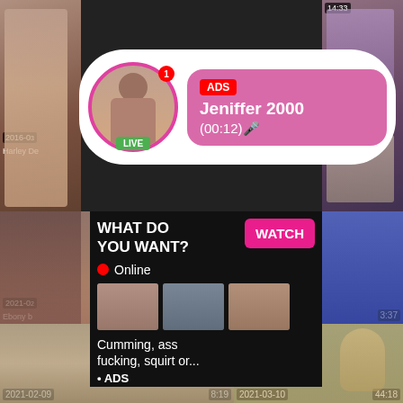[Figure (screenshot): Adult video website screenshot with thumbnail grid and overlay advertisements. Top-left thumbnail with date '2016-0' and label 'Harley De'. Top-right thumbnail with timestamp '14:33'. Middle-left video thumbnail with date '2021-0' and label 'Ebony b' and timestamp '3:37'. Notification popup: ADS label, 'Jeniffer 2000', '(00:12)' with LIVE badge. Ad overlay: 'WHAT DO YOU WANT?' with WATCH button, Online indicator, thumbnails, text 'Cumming, ass fucking, squirt or...', '• ADS'. Bottom-left thumbnail '2021-02-09' timestamp '8:19'. Bottom-right thumbnail '2021-03-10' timestamp '44:18'.]